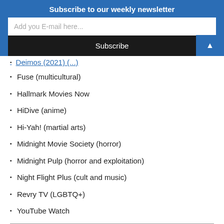Subscribe to our weekly newsletter
Add you E-mail here...
Subscribe
Deimos (2021) (...)
Fuse (multicultural)
Hallmark Movies Now
HiDive (anime)
Hi-Yah! (martial arts)
Midnight Movie Society (horror)
Midnight Pulp (horror and exploitation)
Night Flight Plus (cult and music)
Revry TV (LGBTQ+)
YouTube Watch
DOCUMENTARY AND NON-FICTION
Discovery+